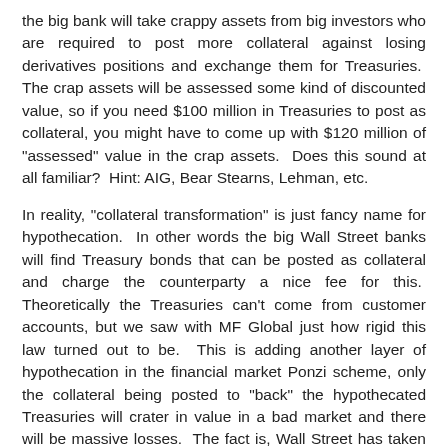the big bank will take crappy assets from big investors who are required to post more collateral against losing derivatives positions and exchange them for Treasuries. The crap assets will be assessed some kind of discounted value, so if you need $100 million in Treasuries to post as collateral, you might have to come up with $120 million of "assessed" value in the crap assets. Does this sound at all familiar? Hint: AIG, Bear Stearns, Lehman, etc.
In reality, "collateral transformation" is just fancy name for hypothecation. In other words the big Wall Street banks will find Treasury bonds that can be posted as collateral and charge the counterparty a nice fee for this. Theoretically the Treasuries can't come from customer accounts, but we saw with MF Global just how rigid this law turned out to be. This is adding another layer of hypothecation in the financial market Ponzi scheme, only the collateral being posted to "back" the hypothecated Treasuries will crater in value in a bad market and there will be massive losses. The fact is, Wall Street has taken the MF Global/JP Morgan model for collateral posting and injected it with steroids. You can thank the Obama Government for enabling and allowing this.